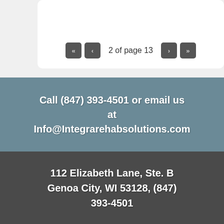[Figure (screenshot): Pagination control showing '2 of page 13' with navigation buttons (first, previous, next, last)]
Call (847) 393-4501 or email us at Info@Integrarehabsolutions.com
112 Elizabeth Lane, Ste. B Genoa City, WI 53128, (847) 393-4501